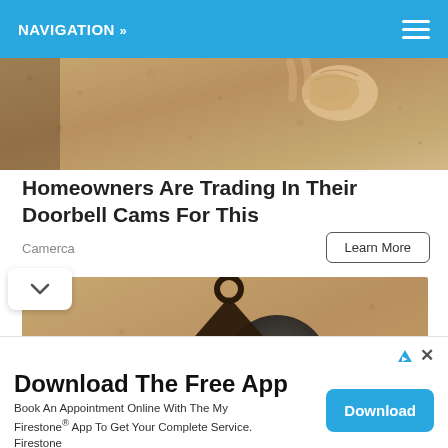NAVIGATION »
[Figure (photo): Top cropped photo showing sandy/stucco textured surface with a shell or similar object, warm tan colors]
Homeowners Are Trading In Their Doorbell Cams For This
Camerca
Learn More
[Figure (photo): Photo of an outdoor wall-mounted lantern light fixture with a dark metal frame and round loop at top, mounted on a stucco wall, with a white bulb visible inside]
Download The Free App
Book An Appointment Online With The My Firestone® App To Get Your Complete Service. Firestone
Download